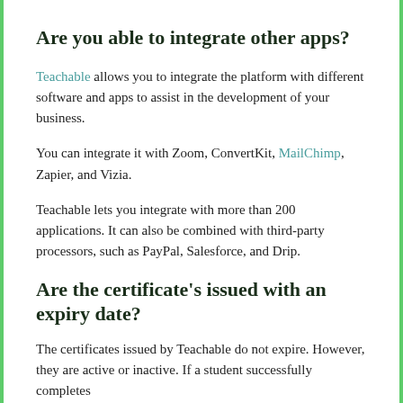Are you able to integrate other apps?
Teachable allows you to integrate the platform with different software and apps to assist in the development of your business.
You can integrate it with Zoom, ConvertKit, MailChimp, Zapier, and Vizia.
Teachable lets you integrate with more than 200 applications. It can also be combined with third-party processors, such as PayPal, Salesforce, and Drip.
Are the certificate's issued with an expiry date?
The certificates issued by Teachable do not expire. However, they are active or inactive. If a student successfully completes